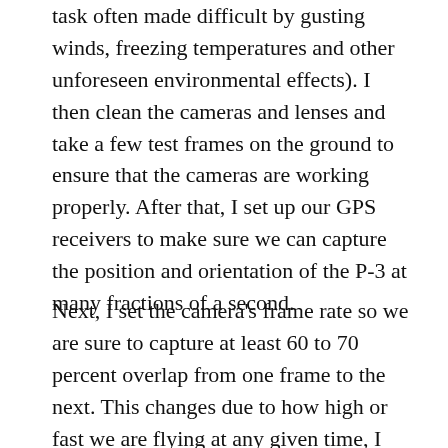task often made difficult by gusting winds, freezing temperatures and other unforeseen environmental effects). I then clean the cameras and lenses and take a few test frames on the ground to ensure that the cameras are working properly. After that, I set up our GPS receivers to make sure we can capture the position and orientation of the P-3 at many fractions of a second.
Next, I set the camera's frame rate so we are sure to capture at least 60 to 70 percent overlap from one frame to the next. This changes due to how high or fast we are flying at any given time, I am constantly adjusting and fixing settings during flights, calculating frame rates by hand. Very little of the DMS system is